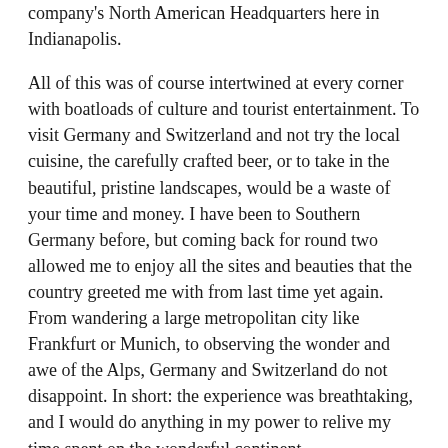company's North American Headquarters here in Indianapolis.
All of this was of course intertwined at every corner with boatloads of culture and tourist entertainment. To visit Germany and Switzerland and not try the local cuisine, the carefully crafted beer, or to take in the beautiful, pristine landscapes, would be a waste of your time and money. I have been to Southern Germany before, but coming back for round two allowed me to enjoy all the sites and beauties that the country greeted me with from last time yet again. From wandering a large metropolitan city like Frankfurt or Munich, to observing the wonder and awe of the Alps, Germany and Switzerland do not disappoint. In short: the experience was breathtaking, and I would do anything in my power to relive my time spent on the wonderful continent.
What's your best memory from your time abroad?
Without a doubt, my top moment was being on top of Mount Pilatus, one of the most well-known mountains in Switzerland. As you would be aware, it is located with